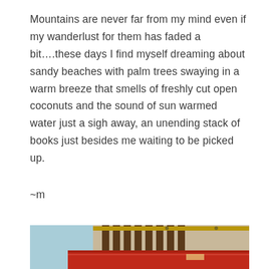Mountains are never far from my mind even if my wanderlust for them has faded a bit….these days I find myself dreaming about sandy beaches with palm trees swaying in a warm breeze that smells of freshly cut open coconuts and the sound of sun warmed water just a sigh away, an unending stack of books just besides me waiting to be picked up.
~m
[Figure (photo): Partial photograph showing beach chairs (wooden/dark brown deck chairs) against a light blue background, with a red object (possibly a towel or bag) in the foreground.]